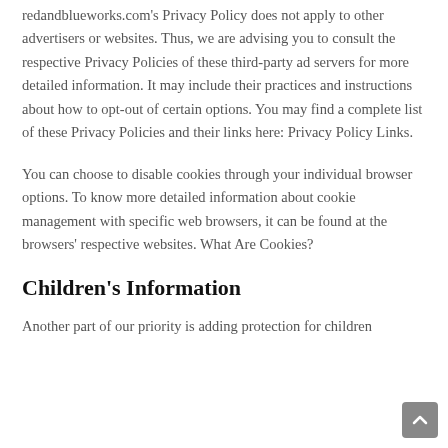redandblueworks.com's Privacy Policy does not apply to other advertisers or websites. Thus, we are advising you to consult the respective Privacy Policies of these third-party ad servers for more detailed information. It may include their practices and instructions about how to opt-out of certain options. You may find a complete list of these Privacy Policies and their links here: Privacy Policy Links.
You can choose to disable cookies through your individual browser options. To know more detailed information about cookie management with specific web browsers, it can be found at the browsers' respective websites. What Are Cookies?
Children's Information
Another part of our priority is adding protection for children